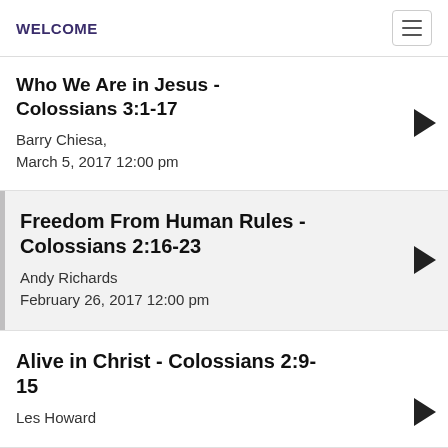WELCOME
Who We Are in Jesus - Colossians 3:1-17
Barry Chiesa,
March 5, 2017 12:00 pm
Freedom From Human Rules - Colossians 2:16-23
Andy Richards
February 26, 2017 12:00 pm
Alive in Christ - Colossians 2:9-15
Les Howard